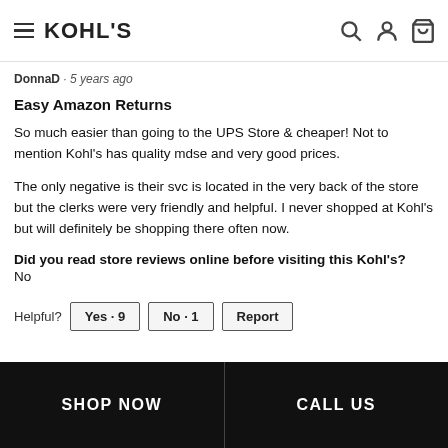KOHL'S
DonnaD · 5 years ago
Easy Amazon Returns
So much easier than going to the UPS Store & cheaper! Not to mention Kohl's has quality mdse and very good prices.

The only negative is their svc is located in the very back of the store but the clerks were very friendly and helpful. I never shopped at Kohl's but will definitely be shopping there often now.
Did you read store reviews online before visiting this Kohl's?
No
Helpful? Yes · 9  No · 1  Report
SHOP NOW | CALL US